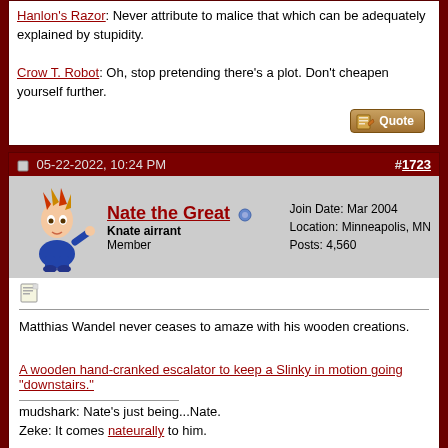Hanlon's Razor: Never attribute to malice that which can be adequately explained by stupidity.
Crow T. Robot: Oh, stop pretending there's a plot. Don't cheapen yourself further.
[Figure (other): Quote button with pencil/paper icon]
05-22-2022, 10:24 PM  #1723
[Figure (illustration): Avatar of Nate the Great - anime-style character with spiky hair in blue outfit]
Nate the Great  Knate airrant  Member  Join Date: Mar 2004  Location: Minneapolis, MN  Posts: 4,560
[Figure (other): Small post/edit icon]
Matthias Wandel never ceases to amaze with his wooden creations.
A wooden hand-cranked escalator to keep a Slinky in motion going "downstairs."
mudshark: Nate's just being...Nate.
Zeke: It comes nateurally to him.
mudshark: I don't expect Nate to make sense, really -- it's just a bad idea.